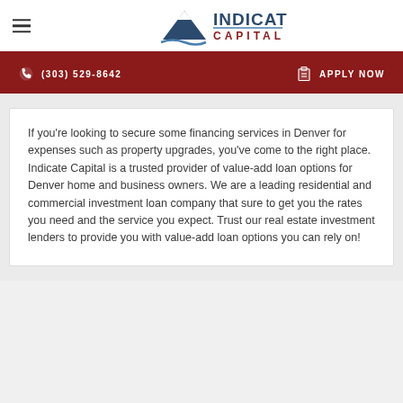[Figure (logo): Indicate Capital logo with mountain triangle graphic and company name]
(303) 529-8642
APPLY NOW
If you're looking to secure some financing services in Denver for expenses such as property upgrades, you've come to the right place. Indicate Capital is a trusted provider of value-add loan options for Denver home and business owners. We are a leading residential and commercial investment loan company that sure to get you the rates you need and the service you expect. Trust our real estate investment lenders to provide you with value-add loan options you can rely on!